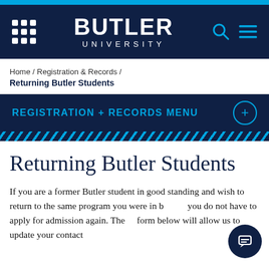[Figure (screenshot): Butler University website header with navy background, grid icon, Butler University logo in white, and search/menu icons in blue]
Home / Registration & Records / Returning Butler Students
Returning Butler Students
REGISTRATION + RECORDS MENU
Returning Butler Students
If you are a former Butler student in good standing and wish to return to the same program you were in before, you do not have to apply for admission again. The form below will allow us to update your contact